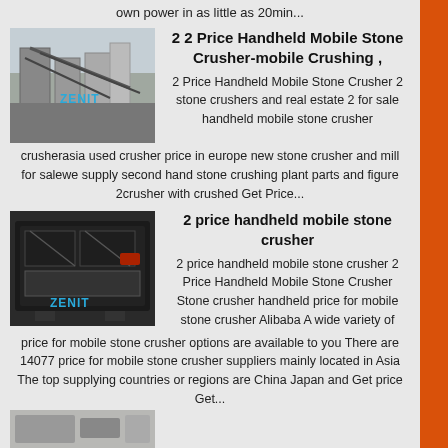own power in as little as 20min...
2 2 Price Handheld Mobile Stone Crusher-mobile Crushing ,
[Figure (photo): Aerial view of a stone crushing plant facility with ZENIT watermark]
2 Price Handheld Mobile Stone Crusher 2 stone crushers and real estate 2 for sale handheld mobile stone crusher crusherasia used crusher price in europe new stone crusher and mill for salewe supply second hand stone crushing plant parts and figure 2crusher with crushed Get Price...
2 price handheld mobile stone crusher
[Figure (photo): Close-up photo of a mobile stone crusher machine with ZENIT watermark]
2 price handheld mobile stone crusher 2 Price Handheld Mobile Stone Crusher Stone crusher handheld price for mobile stone crusher Alibaba A wide variety of price for mobile stone crusher options are available to you There are 14077 price for mobile stone crusher suppliers mainly located in Asia The top supplying countries or regions are China Japan and Get price Get...
[Figure (photo): Partial view of another stone crushing machine at bottom of page]